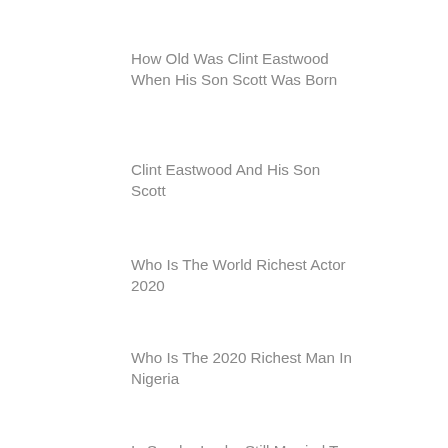How Old Was Clint Eastwood When His Son Scott Was Born
Clint Eastwood And His Son Scott
Who Is The World Richest Actor 2020
Who Is The 2020 Richest Man In Nigeria
Is Sondra Locke Still Married To Clint Eastwood
Clint Eastwood Net Worth Leaves Family In Tears
Clint Eastwoods Son Cowboy